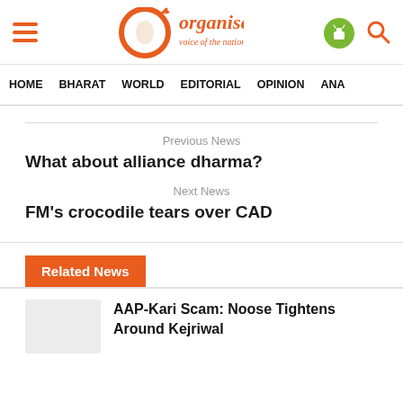Organiser — voice of the nation
HOME  BHARAT  WORLD  EDITORIAL  OPINION  ANA
Previous News
What about alliance dharma?
Next News
FM's crocodile tears over CAD
Related News
AAP-Kari Scam: Noose Tightens Around Kejriwal